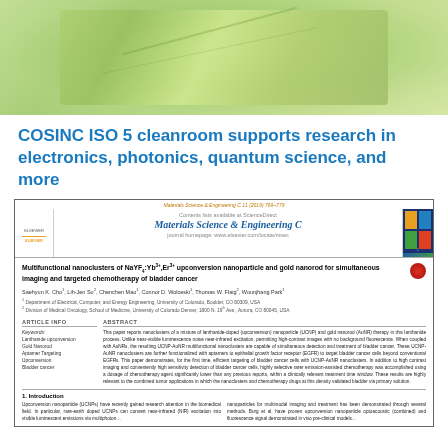[Figure (photo): Green leaf/plant macro photograph used as decorative banner image for COSINC cleanroom article]
COSINC ISO 5 cleanroom supports research in electronics, photonics, quantum science, and more
[Figure (screenshot): Screenshot of journal article: Multifunctional nanoclusters of NaYF4:Yb3+,Er3+ upconversion nanoparticle and gold nanorod for simultaneous imaging and targeted chemotherapy of bladder cancer. Materials Science & Engineering C journal page with article info, abstract, and introduction section.]